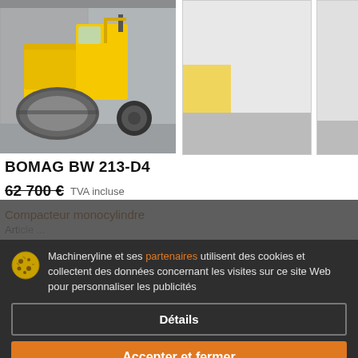[Figure (photo): Yellow BOMAG BW 213-D4 single drum road compactor/roller on a gray background]
[Figure (photo): Second partial view of a yellow compactor, mostly white/blank]
[Figure (photo): Third partial/cropped view of compactor, mostly blank]
BOMAG BW 213-D4
62 700 €  TVA incluse
Compacteur monocylindre
Article ...
Ukraine
Machineryline et ses partenaires utilisent des cookies et collectent des données concernant les visites sur ce site Web pour personnaliser les publicités
Détails
Accepter et fermer